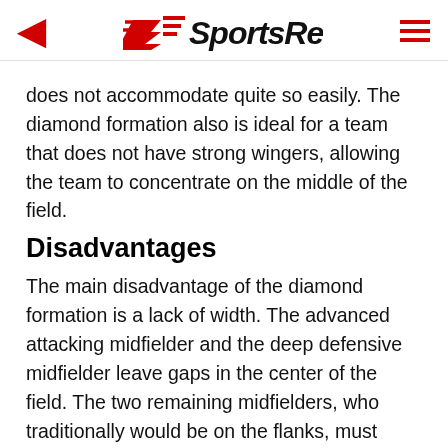SportsRec
does not accommodate quite so easily. The diamond formation also is ideal for a team that does not have strong wingers, allowing the team to concentrate on the middle of the field.
Disadvantages
The main disadvantage of the diamond formation is a lack of width. The advanced attacking midfielder and the deep defensive midfielder leave gaps in the center of the field. The two remaining midfielders, who traditionally would be on the flanks, must therefore move slightly infield to plug the gaps. This results in a narrow formation, limiting wing play and making it difficult to get behind the opposing fullbacks to swing